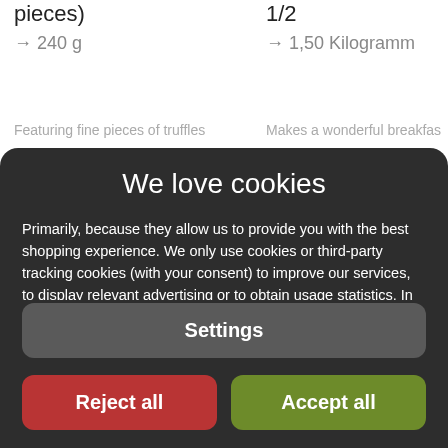pieces)
→ 240 g
1/2
→ 1,50 Kilogramm
Featuring fine pieces of truffles
Makes a wonderful breakfast
We love cookies
Primarily, because they allow us to provide you with the best shopping experience. We only use cookies or third-party tracking cookies (with your consent) to improve our services, to display relevant advertising or to obtain usage statistics. In this way, cookies help us constantly improve our services. Find out more in the settings or in our privacy information. Data protection information
Settings
Reject all
Accept all